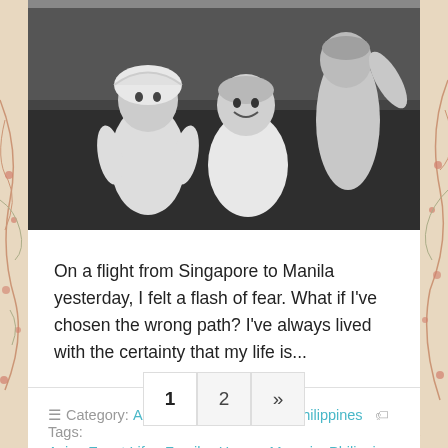[Figure (photo): Black and white photograph of two young children (toddlers) sitting/standing on grass outdoors. The child on the left wears a bonnet and white clothes, the child in the middle is smiling, and a third child is partially visible on the right.]
On a flight from Singapore to Manila yesterday, I felt a flash of fear. What if I've chosen the wrong path? I've always lived with the certainty that my life is...
☰ Category: Asia, Expat Life, Family, Philippines 🏷 Tags: Asia, Expat Life, Family, Home, Memoir, Philippines
1 2 »